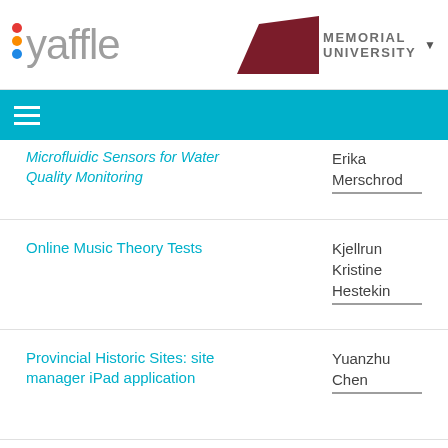[Figure (logo): Yaffle logo with colored dots and grey text]
[Figure (logo): Memorial University logo with dark red geometric shape]
≡ (navigation hamburger menu)
Microfluidic Sensors for Water Quality Monitoring
Erika Merschrod
Online Music Theory Tests
Kjellrun Kristine Hestekin
Provincial Historic Sites: site manager iPad application
Yuanzhu Chen